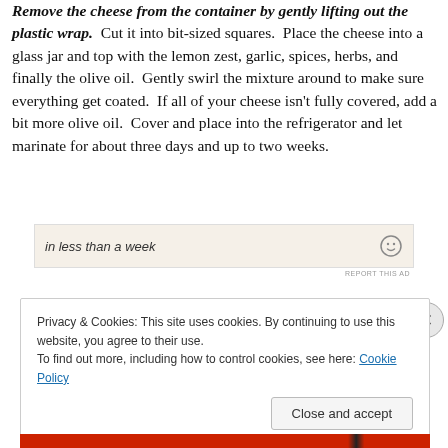Remove the cheese from the container by gently lifting out the plastic wrap.  Cut it into bit-sized squares.  Place the cheese into a glass jar and top with the lemon zest, garlic, spices, herbs, and finally the olive oil.  Gently swirl the mixture around to make sure everything get coated.  If all of your cheese isn't fully covered, add a bit more olive oil.  Cover and place into the refrigerator and let marinate for about three days and up to two weeks.
[Figure (other): Advertisement banner showing partial text 'in less than a week' with a smiley icon and 'REPORT THIS AD' label.]
Privacy & Cookies: This site uses cookies. By continuing to use this website, you agree to their use.
To find out more, including how to control cookies, see here: Cookie Policy
Close and accept